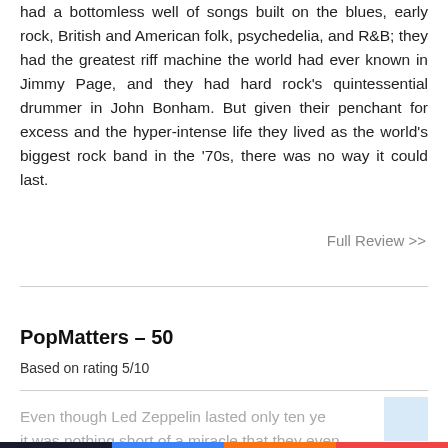had a bottomless well of songs built on the blues, early rock, British and American folk, psychedelia, and R&B; they had the greatest riff machine the world had ever known in Jimmy Page, and they had hard rock's quintessential drummer in John Bonham. But given their penchant for excess and the hyper-intense life they lived as the world's biggest rock band in the '70s, there was no way it could last.
Full Review >>
PopMatters – 50
Based on rating 5/10
Even though Led Zeppelin lasted only ten ye... it was nothing short of a miracle that they even